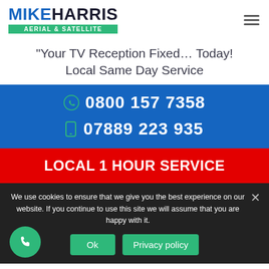MIKE HARRIS AERIAL & SATELLITE
“Your TV Reception Fixed… Today! Local Same Day Service
0800 157 7358
07889 223 935
LOCAL 1 HOUR SERVICE
We use cookies to ensure that we give you the best experience on our website. If you continue to use this site we will assume that you are happy with it.
Ok
Privacy policy